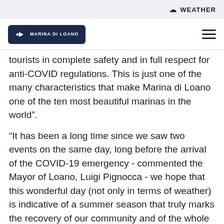☁ WEATHER
[Figure (logo): Marina di Loano logo — dark navy shield/badge shape with a white arrow/play icon and text 'MARINA DI LOANO']
tourists in complete safety and in full respect for anti-COVID regulations. This is just one of the many characteristics that make Marina di Loano one of the ten most beautiful marinas in the world”.
“It has been a long time since we saw two events on the same day, long before the arrival of the COVID-19 emergency - commented the Mayor of Loano, Luigi Pignocca - we hope that this wonderful day (not only in terms of weather) is indicative of a summer season that truly marks the recovery of our community and of the whole of Italy. In order to get back on track, all areas of production need to collaborate and work together to get the entire